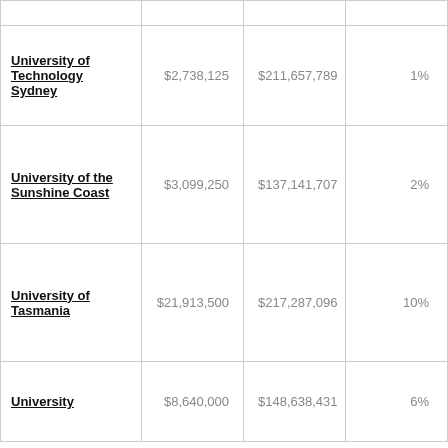| Institution | Amount | Total | Percentage |
| --- | --- | --- | --- |
| University of Technology Sydney | $2,738,125 | $211,657,789 | 1% |
| University of the Sunshine Coast | $3,099,250 | $137,141,707 | 2% |
| University of Tasmania | $21,913,500 | $217,287,096 | 10% |
| University | $8,640,000 | $148,638,431 | 6% |